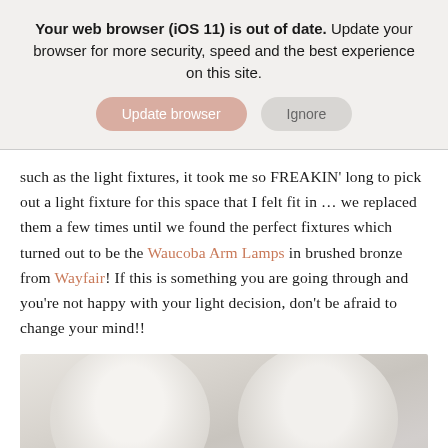Your web browser (iOS 11) is out of date. Update your browser for more security, speed and the best experience on this site.
Update browser | Ignore
such as the light fixtures, it took me so FREAKIN' long to pick out a light fixture for this space that I felt fit in … we replaced them a few times until we found the perfect fixtures which turned out to be the Waucoba Arm Lamps in brushed bronze from Wayfair! If this is something you are going through and you're not happy with your light decision, don't be afraid to change your mind!!
[Figure (photo): Close-up photo of white lamp shades, showing curved tops of two lamp shades against a light beige/white background]